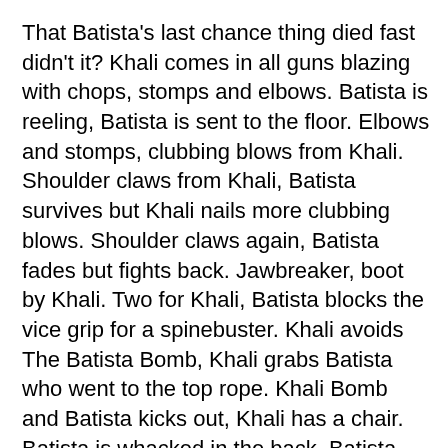That Batista's last chance thing died fast didn't it? Khali comes in all guns blazing with chops, stomps and elbows. Batista is reeling, Batista is sent to the floor. Elbows and stomps, clubbing blows from Khali. Shoulder claws from Khali, Batista survives but Khali nails more clubbing blows. Shoulder claws again, Batista fades but fights back. Jawbreaker, boot by Khali. Two for Khali, Batista blocks the vice grip for a spinebuster. Khali avoids The Batista Bomb, Khali grabs Batista who went to the top rope. Khali Bomb and Batista kicks out, Khali has a chair. Batista is whacked in the back, Batista wins by DQ.
You bastards, you had me sit through this match, this slow and plodding match suffering at every turn only to not pay it off with Batista winning the championship, how many times can you watch Batista fall short? The 3 Stages of Heaven match...